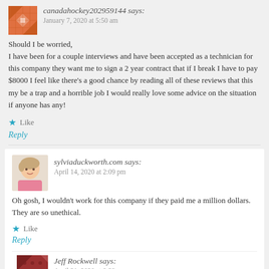canadahockey202959144 says:
January 7, 2020 at 5:50 am
Should I be worried,
I have been for a couple interviews and have been accepted as a technician for this company they want me to sign a 2 year contract that if I break I have to pay $8000 I feel like there's a good chance by reading all of these reviews that this my be a trap and a horrible job I would really love some advice on the situation if anyone has any!
Like
Reply
sylviaduckworth.com says:
April 14, 2020 at 2:09 pm
Oh gosh, I wouldn't work for this company if they paid me a million dollars. They are so unethical.
Like
Reply
Jeff Rockwell says:
April 21, 2020 at 9:23 pm
Hello everybody, Sylvia, have there been any updates on this situation? We